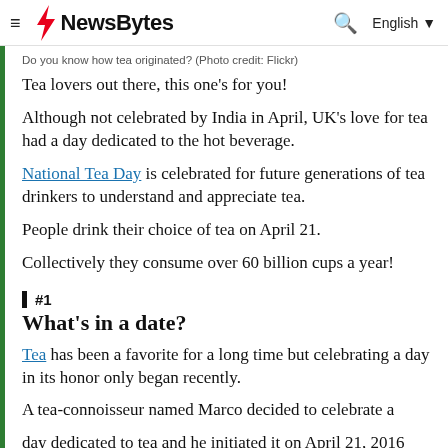NewsBytes — English
Do you know how tea originated? (Photo credit: Flickr)
Tea lovers out there, this one's for you!
Although not celebrated by India in April, UK's love for tea had a day dedicated to the hot beverage.
National Tea Day is celebrated for future generations of tea drinkers to understand and appreciate tea.
People drink their choice of tea on April 21.
Collectively they consume over 60 billion cups a year!
#1
What's in a date?
Tea has been a favorite for a long time but celebrating a day in its honor only began recently.
A tea-connoisseur named Marco decided to celebrate a day dedicated to tea and he initiated it on April 21, 2016